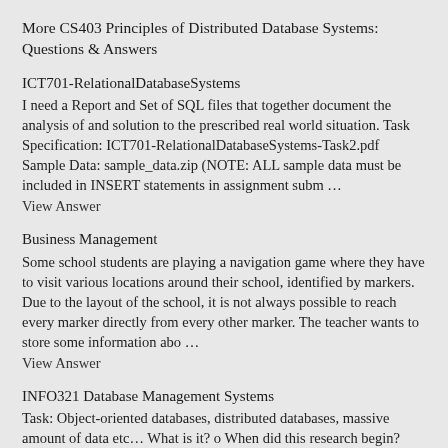More CS403 Principles of Distributed Database Systems: Questions & Answers
ICT701-RelationalDatabaseSystems
I need a Report and Set of SQL files that together document the analysis of and solution to the prescribed real world situation. Task Specification: ICT701-RelationalDatabaseSystems-Task2.pdf Sample Data: sample_data.zip (NOTE: ALL sample data must be included in INSERT statements in assignment subm …
View Answer
Business Management
Some school students are playing a navigation game where they have to visit various locations around their school, identified by markers. Due to the layout of the school, it is not always possible to reach every marker directly from every other marker. The teacher wants to store some information abo …
View Answer
INFO321 Database Management Systems
Task: Object-oriented databases, distributed databases, massive amount of data etc… What is it? o When did this research begin?